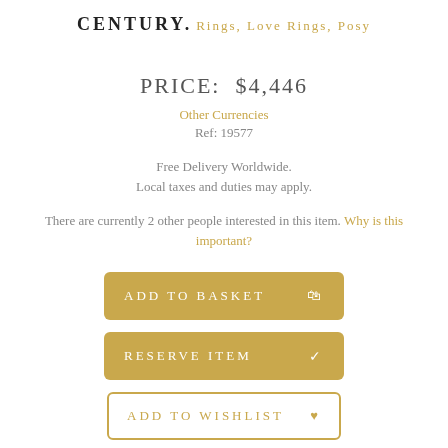CENTURY.
Rings, Love Rings, Posy
PRICE: $4,446
Other Currencies
Ref: 19577
Free Delivery Worldwide.
Local taxes and duties may apply.
There are currently 2 other people interested in this item. Why is this important?
ADD TO BASKET
RESERVE ITEM
ADD TO WISHLIST